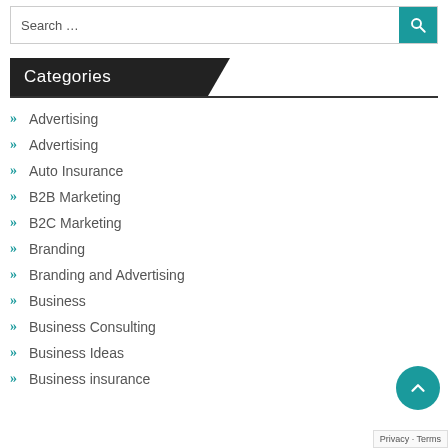Search …
Categories
Advertising
Advertising
Auto Insurance
B2B Marketing
B2C Marketing
Branding
Branding and Advertising
Business
Business Consulting
Business Ideas
Business insurance